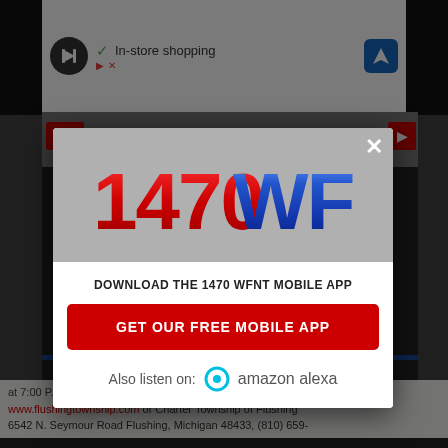[Figure (screenshot): Mobile browser screenshot showing a 1470 WFNT radio station modal popup dialog over a webpage. The modal contains the 1470 WFNT logo, a 'DOWNLOAD THE 1470 WFNT MOBILE APP' message, a red 'GET OUR FREE MOBILE APP' button, and an 'Also listen on: amazon alexa' section. Background shows a partially visible webpage with an advertisement bar at the top.]